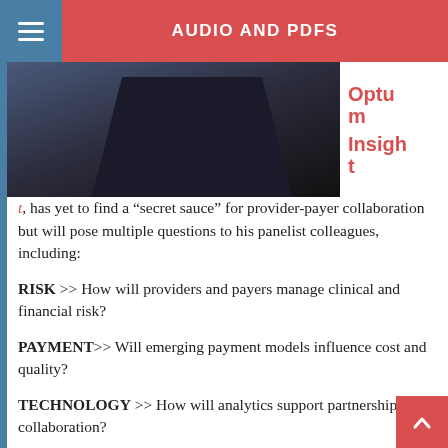AUDIO AND PDFS
[Figure (photo): Person in suit, partial view of upper body, with Optum Insight branding text overlay on the right side]
Optum Insight, has yet to find a “secret sauce” for provider-payer collaboration but will pose multiple questions to his panelist colleagues, including:
RISK >> How will providers and payers manage clinical and financial risk?
PAYMENT>> Will emerging payment models influence cost and quality?
TECHNOLOGY >> How will analytics support partnership and collaboration?